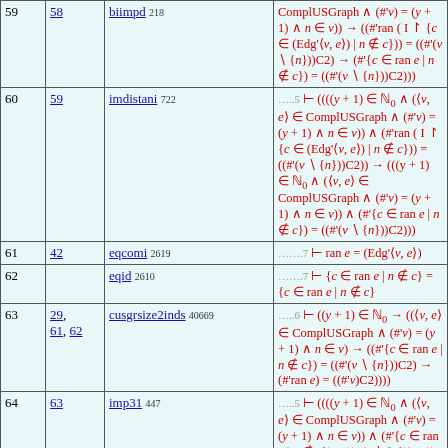| # | Ref | Name | Formula |
| --- | --- | --- | --- |
| 59 | 58 | biimpd 218 | ComplUSGraph ∧ (#'v) = (y + 1) ∧ n ∈ v)) → ((#'ran ( I ↾ {c ∈ (Edg'⟨v, e⟩) | n ∉ c})) = ((#'(v \ {n}))C2) → (#'{c ∈ ran e | n ∉ c}) = ((#'(v \ {n}))C2))) |
| 60 | 59 | imdistani 722 | …..5 ⊢ ((((y + 1) ∈ ℕ₀ ∧ (⟨v, e⟩ ∈ ComplUSGraph ∧ (#'v) = (y + 1) ∧ n ∈ v)) ∧ (#'ran ( I ↾ {c ∈ (Edg'⟨v, e⟩) | n ∉ c})) = ((#'(v \ {n}))C2)) → (((y + 1) ∈ ℕ₀ ∧ (⟨v, e⟩ ∈ ComplUSGraph ∧ (#'v) = (y + 1) ∧ n ∈ v)) ∧ (#'{c ∈ ran e | n ∉ c}) = ((#'(v \ {n}))C2))) |
| 61 | 42 | eqcomi 2619 | …….7 ⊢ ran e = (Edg'⟨v, e⟩) |
| 62 |  | eqid 2610 | …….7 ⊢ {c ∈ ran e | n ∉ c} = {c ∈ ran e | n ∉ c} |
| 63 | 29, 61, 62 | cusgrsize2inds 40669 | …..6 ⊢ ((y + 1) ∈ ℕ₀ → ((⟨v, e⟩ ∈ ComplUSGraph ∧ (#'v) = (y + 1) ∧ n ∈ v) → ((#'{c ∈ ran e | n ∉ c}) = ((#'(v \ {n}))C2) → (#'ran e) = ((#'v)C2)))) |
| 64 | 63 | imp31 447 | …..5 ⊢ ((((y + 1) ∈ ℕ₀ ∧ (⟨v, e⟩ ∈ ComplUSGraph ∧ (#'v) = (y + 1) ∧ n ∈ v)) ∧ (#'{c ∈ ran e | n ∉ c}) = ((#'(v \ {n}))C2)) → (#'ran e) = ((#'v)C2)) |